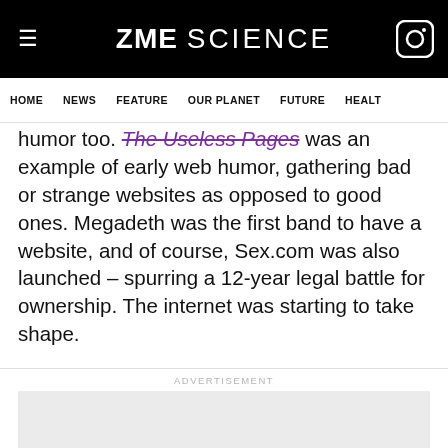ZME SCIENCE
HOME  NEWS  FEATURE  OUR PLANET  FUTURE  HEALTH
humor too. The Useless Pages was an example of early web humor, gathering bad or strange websites as opposed to good ones. Megadeth was the first band to have a website, and of course, Sex.com was also launched – spurring a 12-year legal battle for ownership. The internet was starting to take shape.
ADVERTISEMENT